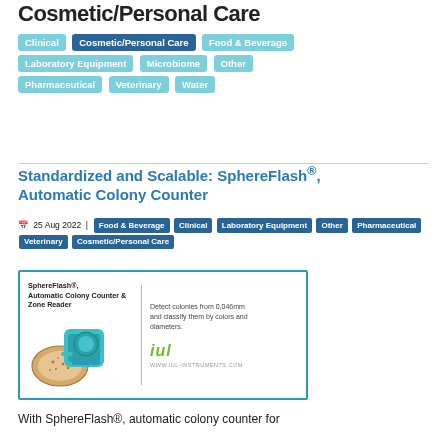Cosmetic/Personal Care
Clinical | Cosmetic/Personal Care | Food & Beverage | Laboratory Equipment | Microbiome | Other | Pharmaceutical | Veterinary | Water
Standardized and Scalable: SphereFlash®, Automatic Colony Counter
📅 25 Aug 2022 | Food & Beverage | Clinical | Laboratory Equipment | Other | Pharmaceutical | Veterinary | Cosmetic/Personal Care
[Figure (photo): SphereFlash® Automatic Colony Counter & Zone Reader product image with IUL branding. Shows a teal-colored device next to a petri dish. Text: Detect colonies from 0,046mm and classify them by colors and diameters.]
With SphereFlash®, automatic colony counter for